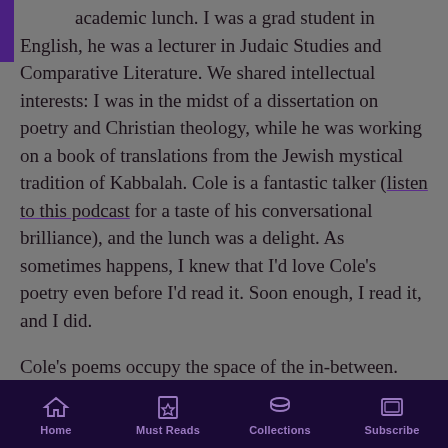academic lunch. I was a grad student in English, he was a lecturer in Judaic Studies and Comparative Literature. We shared intellectual interests: I was in the midst of a dissertation on poetry and Christian theology, while he was working on a book of translations from the Jewish mystical tradition of Kabbalah. Cole is a fantastic talker (listen to this podcast for a taste of his conversational brilliance), and the lunch was a delight. As sometimes happens, I knew that I'd love Cole's poetry even before I'd read it. Soon enough, I read it, and I did.

Cole's poems occupy the space of the in-between. They're deeply mystical and deeply physical, impressively learned and gorgeously musical, rooted
Home | Must Reads | Collections | Subscribe